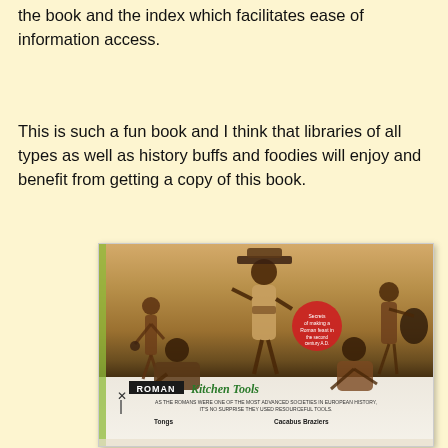the book and the index which facilitates ease of information access.
This is such a fun book and I think that libraries of all types as well as history buffs and foodies will enjoy and benefit from getting a copy of this book.
[Figure (photo): Photo of a book page showing Roman kitchen tools. The book page features an ancient Roman fresco illustration showing figures carrying items, with a red circular badge overlay. The bottom of the visible page shows the title 'ROMAN Kitchen Tools' and text about Romans being advanced societies. Labels for 'Tongs' and 'Cacabus Braziers' are visible at the bottom.]